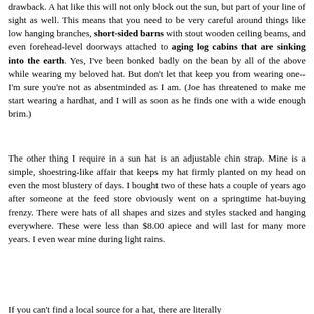drawback. A hat like this will not only block out the sun, but part of your line of sight as well. This means that you need to be very careful around things like low hanging branches, short-sided barns with stout wooden ceiling beams, and even forehead-level doorways attached to aging log cabins that are sinking into the earth. Yes, I've been bonked badly on the bean by all of the above while wearing my beloved hat. But don't let that keep you from wearing one--I'm sure you're not as absentminded as I am. (Joe has threatened to make me start wearing a hardhat, and I will as soon as he finds one with a wide enough brim.)
The other thing I require in a sun hat is an adjustable chin strap. Mine is a simple, shoestring-like affair that keeps my hat firmly planted on my head on even the most blustery of days. I bought two of these hats a couple of years ago after someone at the feed store obviously went on a springtime hat-buying frenzy. There were hats of all shapes and sizes and styles stacked and hanging everywhere. These were less than $8.00 apiece and will last for many more years. I even wear mine during light rains.
If you can't find a local source for a hat, there are literally